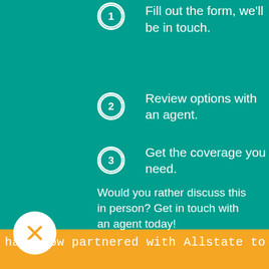1. Fill out the form, we'll be in touch.
2. Review options with an agent.
3. Get the coverage you need.
Would you rather discuss this in person? Get in touch with an agent today!
Contact Us →
have now partnered with Allstate to offer auto,